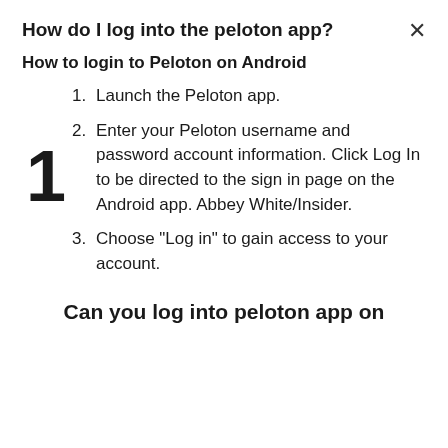How do I log into the peloton app?
How to login to Peloton on Android
1. Launch the Peloton app.
2. Enter your Peloton username and password account information. Click Log In to be directed to the sign in page on the Android app. Abbey White/Insider.
3. Choose "Log in" to gain access to your account.
Can you log into peloton app on